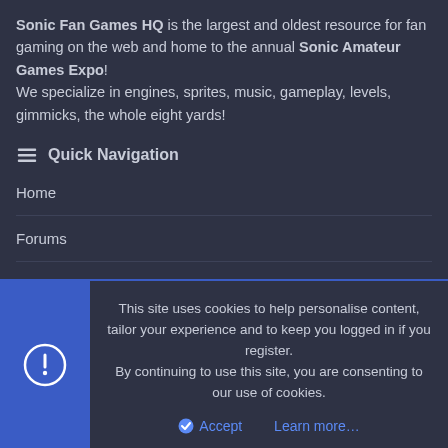Sonic Fan Games HQ is the largest and oldest resource for fan gaming on the web and home to the annual Sonic Amateur Games Expo! We specialize in engines, sprites, music, gameplay, levels, gimmicks, the whole eight yards!
Quick Navigation
Home
Forums
Contact Us
User Menu
Login
This site uses cookies to help personalise content, tailor your experience and to keep you logged in if you register. By continuing to use this site, you are consenting to our use of cookies.
Accept   Learn more…